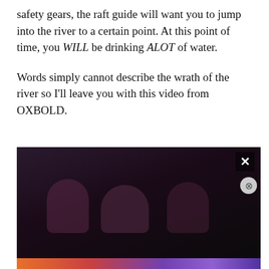safety gears, the raft guide will want you to jump into the river to a certain point. At this point of time, you WILL be drinking ALOT of water.
Words simply cannot describe the wrath of the river so I'll leave you with this video from OXBOLD.
[Figure (screenshot): A dark video player screenshot showing silhouetted figures against a dark background, with an X close button in the top right corner, a cookie consent banner overlaid showing privacy policy text and a 'Close and accept' button, and a colorful decorative banner at the bottom.]